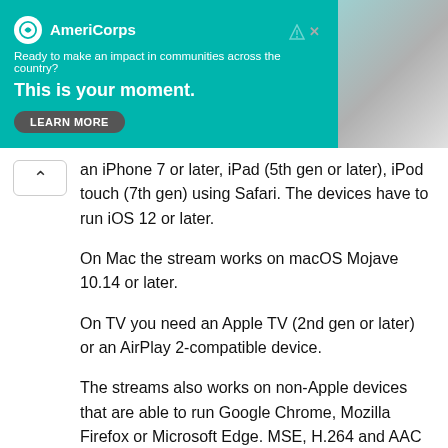[Figure (screenshot): AmeriCorps advertisement banner with teal background. Logo, tagline 'Ready to make an impact in communities across the country?', headline 'This is your moment.', and a LEARN MORE button. Photo of person on right side.]
an iPhone 7 or later, iPad (5th gen or later), iPod touch (7th gen) using Safari. The devices have to run iOS 12 or later.
On Mac the stream works on macOS Mojave 10.14 or later.
On TV you need an Apple TV (2nd gen or later) or an AirPlay 2-compatible device.
The streams also works on non-Apple devices that are able to run Google Chrome, Mozilla Firefox or Microsoft Edge. MSE, H.264 and AAC codecs are required.
The Apple TV app on your tvOS device.
Did you watch WWDC 2022 keynote? Did it rise to your